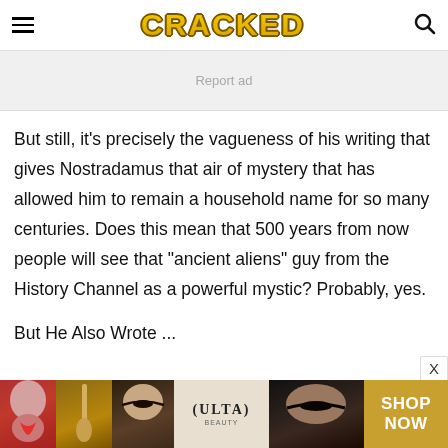CRACKED
[Figure (other): Report ad banner placeholder]
But still, it's precisely the vagueness of his writing that gives Nostradamus that air of mystery that has allowed him to remain a household name for so many centuries. Does this mean that 500 years from now people will see that "ancient aliens" guy from the History Channel as a powerful mystic? Probably, yes.
But He Also Wrote ...
[Figure (other): ULTA Beauty advertisement banner at bottom of page with SHOP NOW call to action]